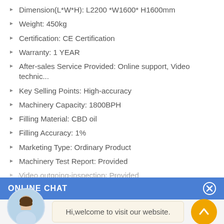Dimension(L*W*H): L2200 *W1600* H1600mm
Weight: 450kg
Certification: CE Certification
Warranty: 1 YEAR
After-sales Service Provided: Online support, Video technic...
Key Selling Points: High-accuracy
Machinery Capacity: 1800BPH
Filling Material: CBD oil
Filling Accuracy: 1%
Marketing Type: Ordinary Product
Machinery Test Report: Provided
Video outgoing-inspection: Provided
Warranty of components: 1 YEAR (partially obscured)
[Figure (screenshot): Online chat widget bar with blue header labeled ONLINE CHAT and close button]
[Figure (photo): Avatar photo of a woman named Cilina with a chat bubble saying Hi,welcome to visit our website.]